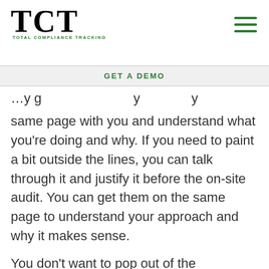TCT TOTAL COMPLIANCE TRACKING
GET A DEMO
…y g y y same page with you and understand what you're doing and why. If you need to paint a bit outside the lines, you can talk through it and justify it before the on-site audit. You can get them on the same page to understand your approach and why it makes sense.
You don't want to pop out of the woodwork at the last minute and present something that they aren't already on board with. It actually creates more issues than it solves.